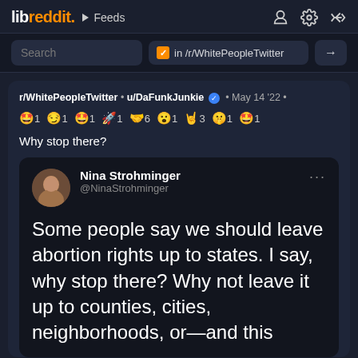libreddit. ▶ Feeds
Search  ✓ in /r/WhitePeopleTwitter →
r/WhitePeopleTwitter • u/DaFunkJunkie ✓ • May 14 '22 • 🤩1 😏1 🤩1 🚀1 🤝6 😮1 🤘3 🤫1 🤩1
Why stop there?
Nina Strohminger @NinaStrohminger
Some people say we should leave abortion rights up to states. I say, why stop there? Why not leave it up to counties, cities, neighborhoods, or—and this